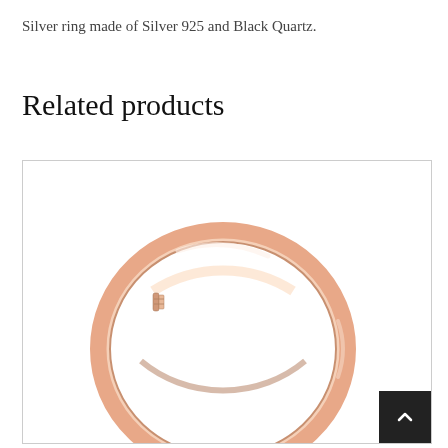Silver ring made of Silver 925 and Black Quartz.
Related products
[Figure (photo): A rose gold colored circular ring/hoop, photographed close-up showing the smooth metallic surface and clasp detail, on a white background inside a bordered product card.]